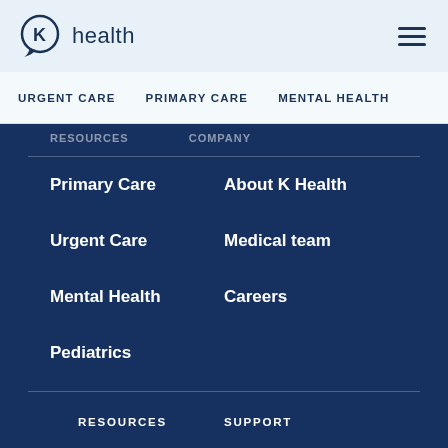[Figure (logo): K Health logo with circle K icon and 'health' text]
URGENT CARE  PRIMARY CARE  MENTAL HEALTH
Primary Care
About K Health
Urgent Care
Medical team
Mental Health
Careers
Pediatrics
RESOURCES
SUPPORT